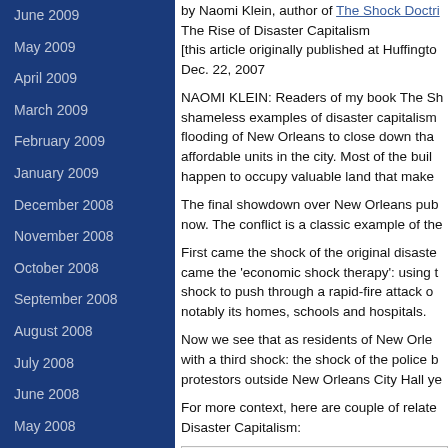June 2009
May 2009
April 2009
March 2009
February 2009
January 2009
December 2008
November 2008
October 2008
September 2008
August 2008
July 2008
June 2008
May 2008
April 2008
March 2008
February 2008
January 2008
by Naomi Klein, author of The Shock Doctrine: The Rise of Disaster Capitalism [this article originally published at Huffingto... Dec. 22, 2007
NAOMI KLEIN: Readers of my book The Sh... shameless examples of disaster capitalism... flooding of New Orleans to close down that... affordable units in the city. Most of the buil... happen to occupy valuable land that make...
The final showdown over New Orleans pub... now. The conflict is a classic example of the...
First came the shock of the original disaster... came the ‘economic shock therapy’: using t... shock to push through a rapid-fire attack o... notably its homes, schools and hospitals.
Now we see that as residents of New Orlea... with a third shock: the shock of the police b... protestors outside New Orleans City Hall ye...
For more context, here are couple of relate... Disaster Capitalism:
“The Bush administration refused to...